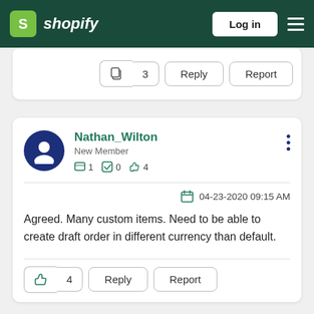Shopify — Log in
[Figure (screenshot): Partial comment card with like (3), Reply, Report buttons]
Nathan_Wilton
New Member
1 post · 0 solutions · 4 likes
04-23-2020 09:15 AM
Agreed. Many custom items. Need to be able to create draft order in different currency than default.
[Figure (screenshot): Thumbs up (4), Reply, Report buttons at the bottom of the comment]